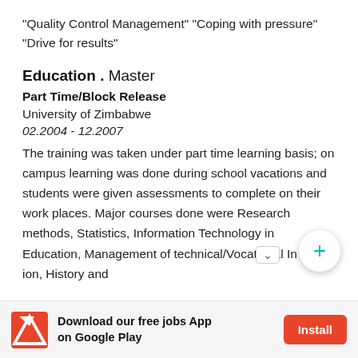"Quality Control Management" "Coping with pressure" "Drive for results"
Education . Master
Part Time/Block Release
University of Zimbabwe
02.2004 - 12.2007
The training was taken under part time learning basis; on campus learning was done during school vacations and students were given assessments to complete on their work places. Major courses done were Research methods, Statistics, Information Technology in Education, Management of technical/Vocational In ion, History and
Download our free jobs App on Google Play  Install